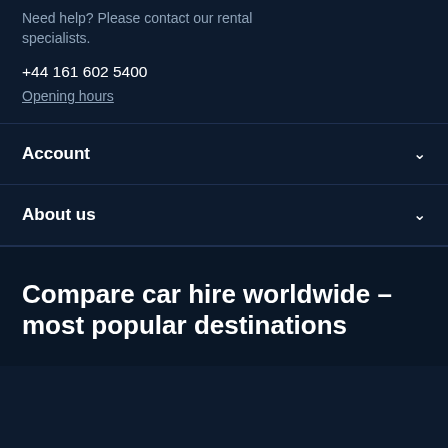Need help? Please contact our rental specialists.
+44 161 602 5400
Opening hours
Account
About us
Compare car hire worldwide – most popular destinations